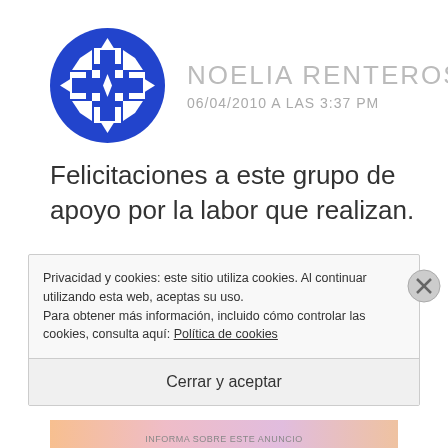[Figure (logo): Blue geometric avatar icon for user Noelia Renteros]
NOELIA RENTEROS
06/04/2010 A LAS 3:37 PM
Felicitaciones a este grupo de apoyo por la labor que realizan.
Pienso que en ciertas ocasiones los seres
Privacidad y cookies: este sitio utiliza cookies. Al continuar utilizando esta web, aceptas su uso.
Para obtener más información, incluido cómo controlar las cookies, consulta aquí: Política de cookies
Cerrar y aceptar
INFORMA SOBRE ESTE ANUNCIO